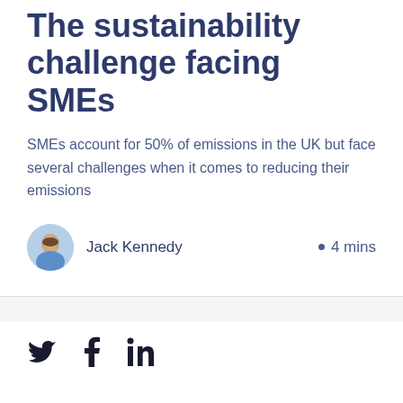The sustainability challenge facing SMEs
SMEs account for 50% of emissions in the UK but face several challenges when it comes to reducing their emissions
Jack Kennedy  •  4 mins
[Figure (illustration): Social media share icons: Twitter bird, Facebook f, LinkedIn in]
SMEs account for over 99% of companies in the UK